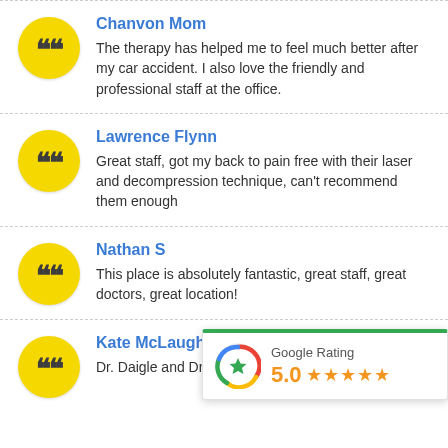Chanvon Mom
The therapy has helped me to feel much better after my car accident. I also love the friendly and professional staff at the office.
Lawrence Flynn
Great staff, got my back to pain free with their laser and decompression technique, can't recommend them enough
Nathan S
This place is absolutely fantastic, great staff, great doctors, great location!
Kate McLaughlin
Dr. Daigle and Dr. Bill are very knowledgeable,
[Figure (infographic): Google Rating badge showing 5.0 stars with Google multicolor star logo and five orange stars]